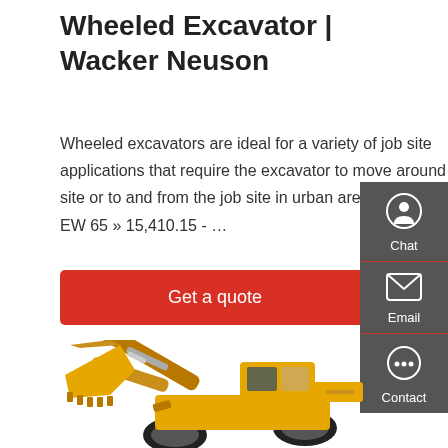Wheeled Excavator | Wacker Neuson
Wheeled excavators are ideal for a variety of job site applications that require the excavator to move around the job site or to and from the job site in urban areas. Wheel Loaders EW 65 » 15,410.15 - …
[Figure (other): Red 'Get a quote' button]
[Figure (other): Dark sidebar panel with Chat, Email, and Contact icons]
[Figure (photo): Yellow wheel loader with raised bucket arm, photographed on white background]